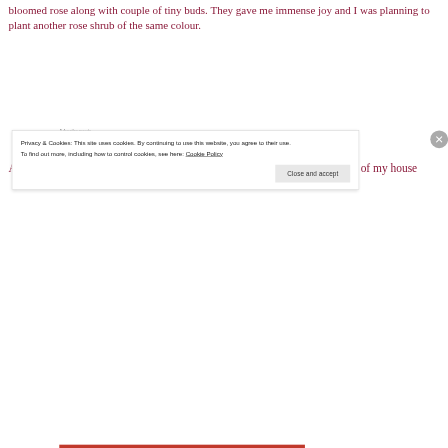bloomed rose along with couple of tiny buds. They gave me immense joy and I was planning to plant another rose shrub of the same colour.
Advertisements
[Figure (screenshot): Advertisement box with text 'Professionally designed sites' and a small icon on the right, on a light beige background.]
A mother and her little daughter enjoying her lollypop were walking in front of my house
Privacy & Cookies: This site uses cookies. By continuing to use this website, you agree to their use.
To find out more, including how to control cookies, see here: Cookie Policy
Close and accept